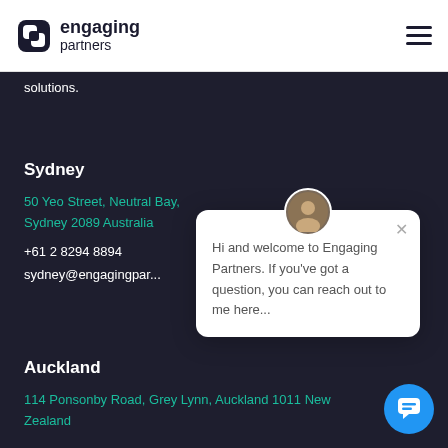engaging partners
solutions.
Sydney
50 Yeo Street, Neutral Bay, Sydney 2089 Australia
+61 2 8294 8894
sydney@engagingpar...
[Figure (screenshot): Chat popup widget with avatar photo and message: Hi and welcome to Engaging Partners. If you've got a question, you can reach out to me here...]
Auckland
114 Ponsonby Road, Grey Lynn, Auckland 1011 New Zealand